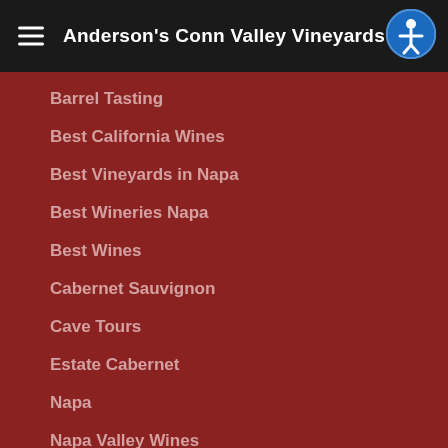Anderson's Conn Valley Vineyards
Barrel Tasting
Best California Wines
Best Vineyards in Napa
Best Wineries Napa
Best Wines
Cabernet Sauvignon
Cave Tours
Estate Cabernet
Napa
Napa Valley Wines
Napa Wineries
St. Helena Wineries
Wine Clubs
Wine Tasting